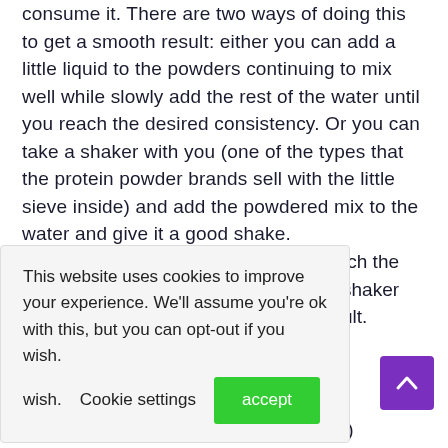consume it. There are two ways of doing this to get a smooth result: either you can add a little liquid to the powders continuing to mix well while slowly add the rest of the water until you reach the desired consistency. Or you can take a shaker with you (one of the types that the protein powder brands sell with the little sieve inside) and add the powdered mix to the water and give it a good shake.
This website uses cookies to improve your experience. We'll assume you're ok with this, but you can opt-out if you wish. Cookie settings accept
tch the shaker ult.
el protein powder (or other flavour of your choice)